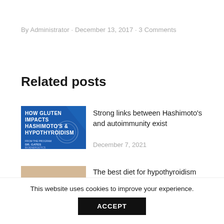By Administrator · December 13, 2017 · 3 Comments
Related posts
[Figure (illustration): Blue book cover titled HOW GLUTEN IMPACTS HASHIMOTO'S & HYPOTHYROIDISM]
Strong links between Hashimoto's and autoimmunity exist
December 7, 2021
[Figure (photo): Photo of a healthy diet meal with avocado, salad, and orange juice]
The best diet for hypothyroidism
October 27, 2021
This website uses cookies to improve your experience.
ACCEPT